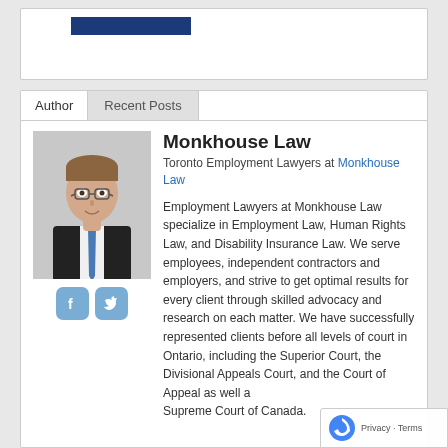[Figure (screenshot): Top box with dark blue bar, partial website header]
Author
Recent Posts
[Figure (photo): Professional headshot of a young man with glasses wearing a dark suit and blue tie]
Monkhouse Law
Toronto Employment Lawyers at Monkhouse Law
Employment Lawyers at Monkhouse Law specialize in Employment Law, Human Rights Law, and Disability Insurance Law. We serve employees, independent contractors and employers, and strive to get optimal results for every client through skilled advocacy and research on each matter. We have successfully represented clients before all levels of court in Ontario, including the Superior Court, the Divisional Appeals Court, and the Court of Appeal as well as the Supreme Court of Canada.